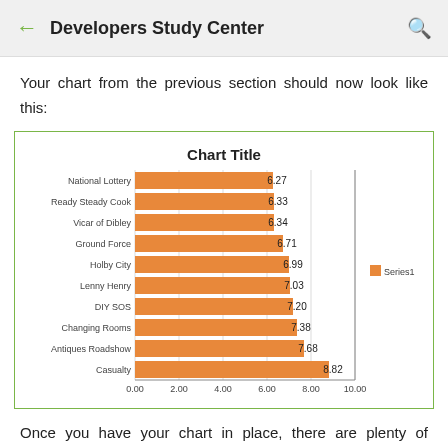Developers Study Center
Your chart from the previous section should now look like this:
[Figure (bar-chart): Chart Title]
Once you have your chart in place, there are plenty of formatting options in Excel. In the chart above, for